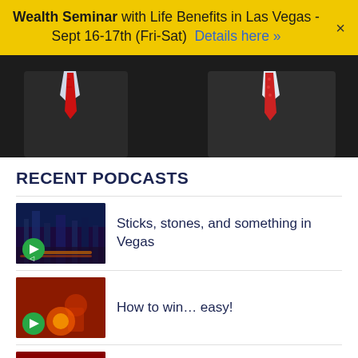Wealth Seminar with Life Benefits in Las Vegas - Sept 16-17th (Fri-Sat)  Details here »
[Figure (photo): Two men in dark suits with red ties, cropped at chest level]
RECENT PODCASTS
Sticks, stones, and something in Vegas
How to win… easy!
Consequences of getting rich